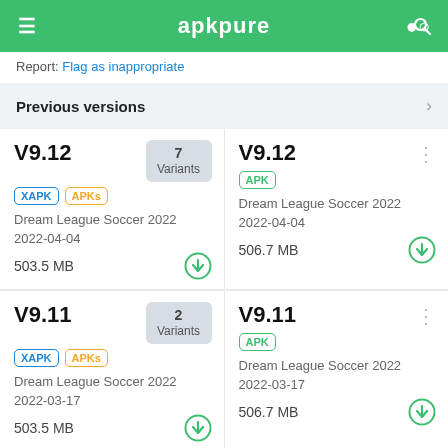≡ apkpure 🔍
Report: Flag as inappropriate
Previous versions
V9.12
XAPK APKs
7 Variants
Dream League Soccer 2022
2022-04-04
503.5 MB
V9.12
APK
Dream League Soccer 2022
2022-04-04
506.7 MB
V9.11
XAPK APKs
2 Variants
Dream League Soccer 2022
2022-03-17
503.5 MB
V9.11
APK
Dream League Soccer 2022
2022-03-17
506.7 MB